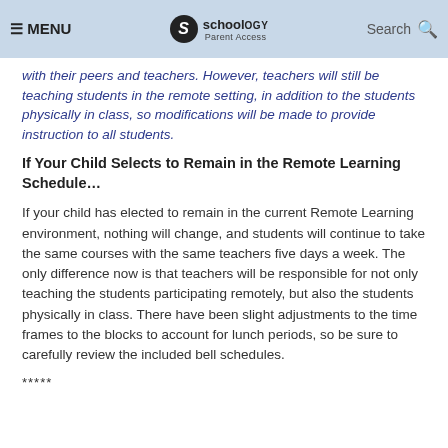MENU | Schoology Parent Access | Search
with their peers and teachers. However, teachers will still be teaching students in the remote setting, in addition to the students physically in class, so modifications will be made to provide instruction to all students.
If Your Child Selects to Remain in the Remote Learning Schedule…
If your child has elected to remain in the current Remote Learning environment, nothing will change, and students will continue to take the same courses with the same teachers five days a week. The only difference now is that teachers will be responsible for not only teaching the students participating remotely, but also the students physically in class. There have been slight adjustments to the time frames to the blocks to account for lunch periods, so be sure to carefully review the included bell schedules.
*****